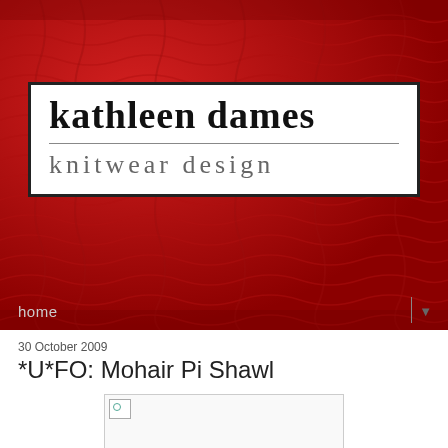[Figure (photo): Red cable-knit textured fabric background with a white rectangular logo box. Logo reads 'kathleen dames' in bold serif font on top line, a horizontal rule, then 'knitwear design' in lighter gray spaced serif font below.]
home
30 October 2009
*U*FO: Mohair Pi Shawl
[Figure (photo): Broken image placeholder with small icon in top-left corner]